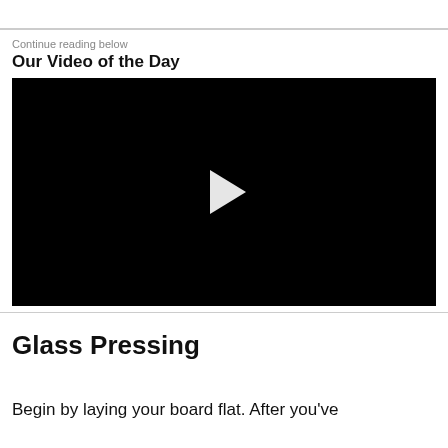Continue reading below
Our Video of the Day
[Figure (screenshot): Video player with black background and white play button triangle in center]
Glass Pressing
Begin by laying your board flat. After you've